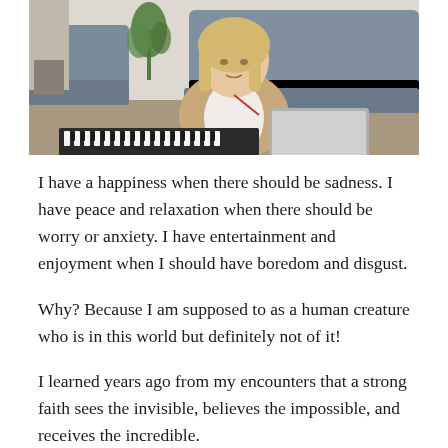[Figure (photo): Woman in beige cardigan sitting at a desk with a laptop and keyboard, in a living room with a grey sofa and plant, holding glasses or earphones]
I have a happiness when there should be sadness. I have peace and relaxation when there should be worry or anxiety. I have entertainment and enjoyment when I should have boredom and disgust.
Why? Because I am supposed to as a human creature who is in this world but definitely not of it!
I learned years ago from my encounters that a strong faith sees the invisible, believes the impossible, and receives the incredible.